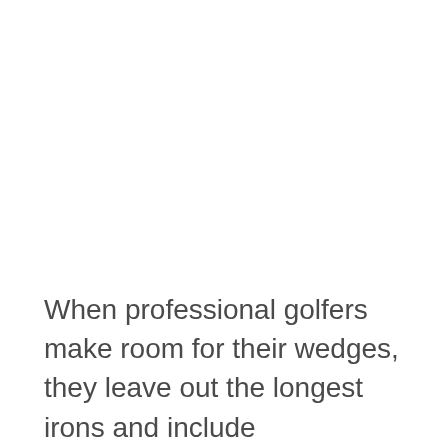When professional golfers make room for their wedges, they leave out the longest irons and include